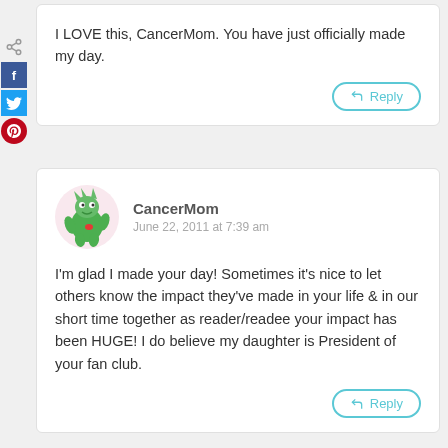I LOVE this, CancerMom. You have just officially made my day.
CancerMom
June 22, 2011 at 7:39 am
I'm glad I made your day! Sometimes it's nice to let others know the impact they've made in your life & in our short time together as reader/readee your impact has been HUGE! I do believe my daughter is President of your fan club.